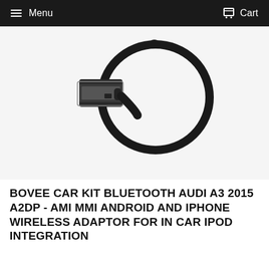Menu   Cart
[Figure (photo): Black Bluetooth AMI MMI cable adapter with a rectangular connector on one end and a looped cable forming a circle, photographed on a white background.]
BOVEE CAR KIT BLUETOOTH AUDI A3 2015 A2DP - AMI MMI ANDROID AND IPHONE WIRELESS ADAPTOR FOR IN CAR IPOD INTEGRATION